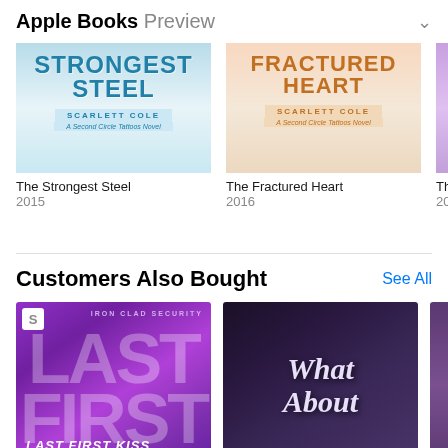Apple Books Preview
[Figure (photo): Book cover for The Strongest Steel by Scarlett Cole, A Second Circle Tattoos Novel, blue and white design]
The Strongest Steel
2015
[Figure (photo): Book cover for The Fractured Heart by Scarlett Cole, A Second Circle Tattoos Novel, peach/orange design]
The Fractured Heart
2016
[Figure (photo): Partial book cover, purple/lavender design, year 201x]
Th
201
Customers Also Bought
See All
[Figure (photo): Book cover: Last First Kiss - Iron Clad Security series, purple gradient background with large white text LAST FIRST, subtitle LAST FIRST KISS]
[Figure (photo): Book cover: What About - romantic couple embracing in dark blue/purple tones with script text What About]
[Figure (photo): Partial book cover on right edge, dark purple]